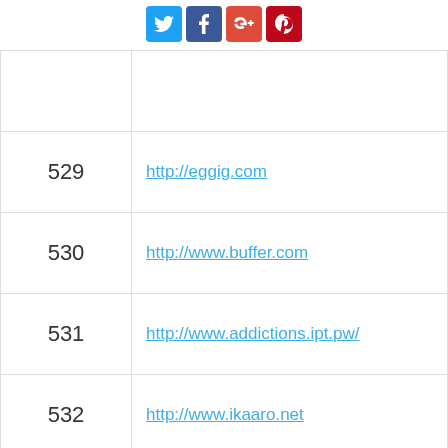[Figure (other): Social share buttons: Twitter (blue), Facebook (dark blue), Google+ (red-orange), Pinterest (dark red)]
| # | URL |
| --- | --- |
|  |  |
| 529 | http://eggig.com |
| 530 | http://www.buffer.com |
| 531 | http://www.addictions.ipt.pw/ |
| 532 | http://www.ikaaro.net |
| 533 | http://americasfutureleaders.com |